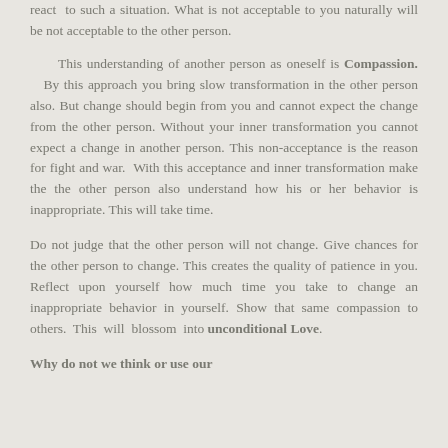react to such a situation. What is not acceptable to you naturally will be not acceptable to the other person.
This understanding of another person as oneself is Compassion. By this approach you bring slow transformation in the other person also. But change should begin from you and cannot expect the change from the other person. Without your inner transformation you cannot expect a change in another person. This non-acceptance is the reason for fight and war. With this acceptance and inner transformation make the the other person also understand how his or her behavior is inappropriate. This will take time.
Do not judge that the other person will not change. Give chances for the other person to change. This creates the quality of patience in you. Reflect upon yourself how much time you take to change an inappropriate behavior in yourself. Show that same compassion to others. This will blossom into unconditional Love.
Why do not we think or use our